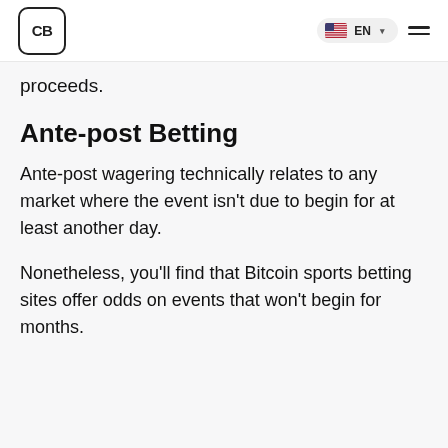CB | EN
proceeds.
Ante-post Betting
Ante-post wagering technically relates to any market where the event isn't due to begin for at least another day.
Nonetheless, you'll find that Bitcoin sports betting sites offer odds on events that won't begin for months.